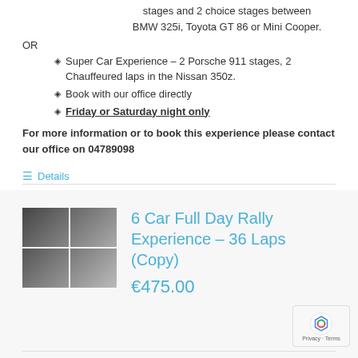stages and 2 choice stages between BMW 325i, Toyota GT 86 or Mini Cooper.
OR
Super Car Experience – 2 Porsche 911 stages, 2 Chauffeured laps in the Nissan 350z.
Book with our office directly
Friday or Saturday night only
For more information or to book this experience please contact our office on 04789098
Details
[Figure (photo): Grid of 4 rally car photos]
6 Car Full Day Rally Experience – 36 Laps (Copy)
€475.00